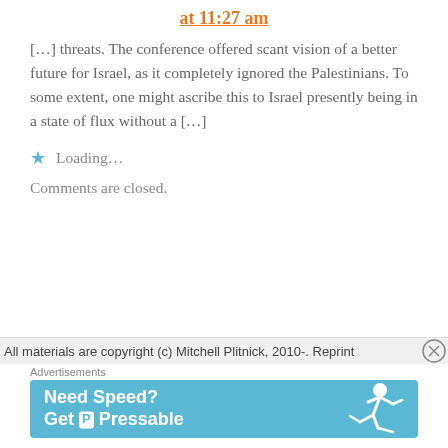at 11:27 am
[…] threats. The conference offered scant vision of a better future for Israel, as it completely ignored the Palestinians. To some extent, one might ascribe this to Israel presently being in a state of flux without a […]
★ Loading…
Comments are closed.
All materials are copyright (c) Mitchell Plitnick, 2010-. Reprint
Advertisements
[Figure (infographic): Advertisement banner: 'Need Speed? Get Pressable' on a blue background with a running figure illustration]